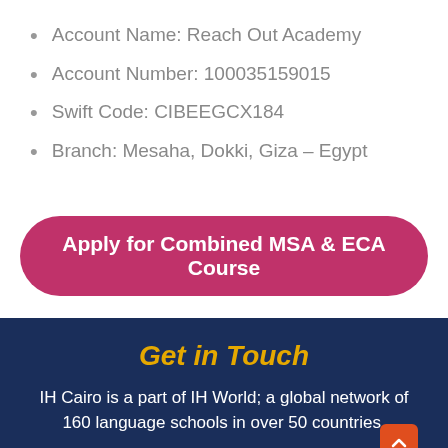Account Name: Reach Out Academy
Account Number: 100035159015
Swift Code: CIBEEGCX184
Branch: Mesaha, Dokki, Giza – Egypt
Apply for Combined MSA & ECA Course
Get in Touch
IH Cairo is a part of IH World; a global network of 160 language schools in over 50 countries.
Phone: 00201200006184
Email: info@ihcairoeg.com